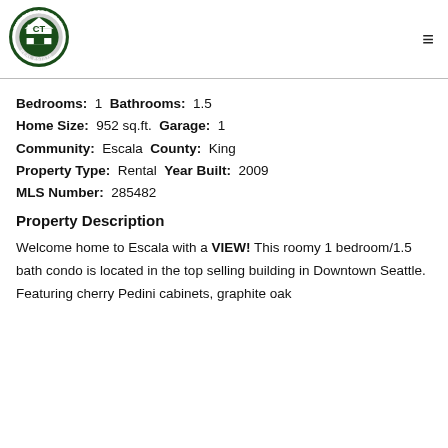[Figure (logo): The Cascade Team Real Estate circular logo with green border and gray house/key icon in center]
Bedrooms: 1 Bathrooms: 1.5
Home Size: 952 sq.ft. Garage: 1
Community: Escala County: King
Property Type: Rental Year Built: 2009
MLS Number: 285482
Property Description
Welcome home to Escala with a VIEW! This roomy 1 bedroom/1.5 bath condo is located in the top selling building in Downtown Seattle. Featuring cherry Pedini cabinets, graphite oak